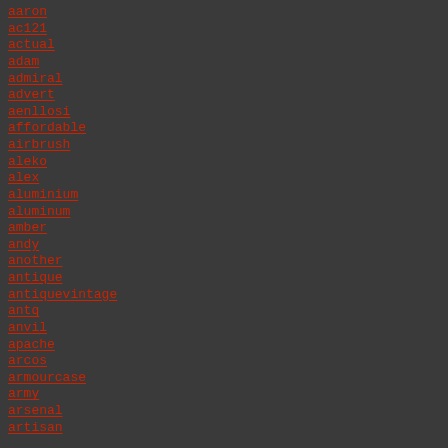aaron
ac121
actual
adam
admiral
advert
aenllosi
affordable
airbrush
aleko
alex
aluminium
aluminum
amber
andy
another
antique
antiquevintage
antq
anvil
apache
arcos
armourcase
army
arsenal
artisan